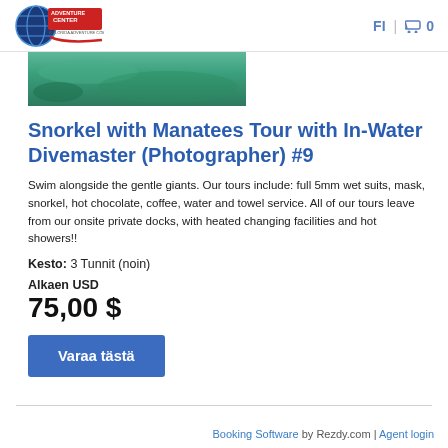Adventure Center | FI | 0
[Figure (photo): Partial hero image showing green/teal underwater or nature scene]
Snorkel with Manatees Tour with In-Water Divemaster (Photographer) #9
Swim alongside the gentle giants. Our tours include: full 5mm wet suits, mask, snorkel, hot chocolate, coffee, water and towel service. All of our tours leave from our onsite private docks, with heated changing facilities and hot showers!!
Kesto: 3 Tunnit (noin)
Alkaen USD
75,00 $
Varaa tästä
Booking Software by Rezdy.com | Agent login